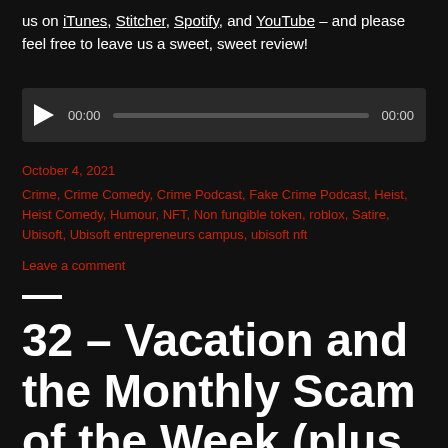us on iTunes, Stitcher, Spotify, and YouTube – and please feel free to leave us a sweet, sweet review!
[Figure (other): Audio player widget with play button, time display 00:00, progress bar, and end time 00:00]
October 4, 2021
Crime, Crime Comedy, Crime Podcast, Fake Crime Podcast, Heist, Heist Comedy, Humour, NFT, Non fungible token, roblox, Satire, Ubisoft, Ubisoft entrepreneurs campus, ubisoft nft
Leave a comment
32 – Vacation and the Monthly Scam of the Week (plus